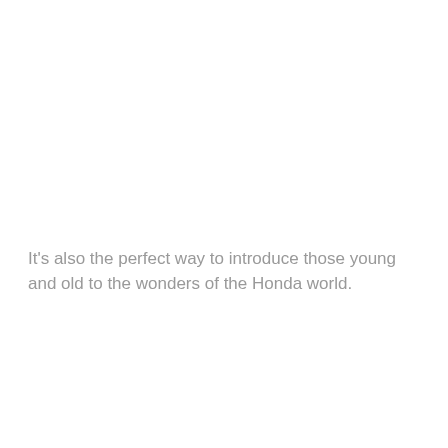It's also the perfect way to introduce those young and old to the wonders of the Honda world.